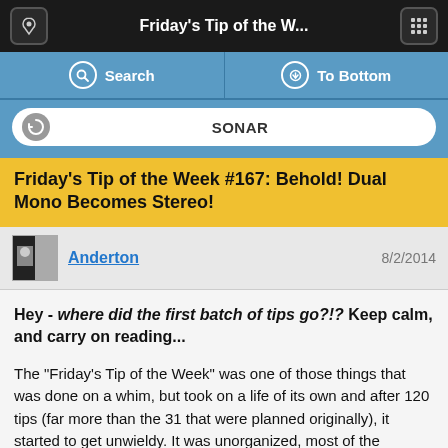Friday's Tip of the W...
Search | To Bottom
SONAR
Friday's Tip of the Week #167: Behold! Dual Mono Becomes Stereo!
Anderton   8/2/2014
Hey - where did the first batch of tips go?!?  Keep calm, and carry on reading...
The "Friday's Tip of the Week" was one of those things that was done on a whim, but took on a life of its own and after 120 tips (far more than the 31 that were planned originally), it started to get unwieldy. It was unorganized, most of the